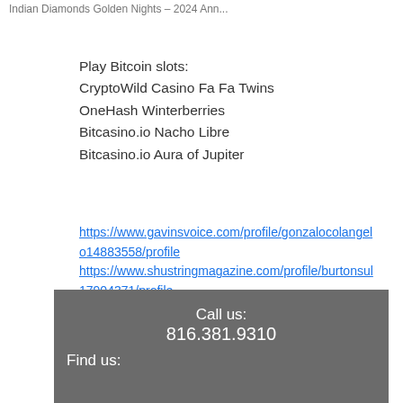Indian Diamonds Golden Nights - 2024 Ann...
Play Bitcoin slots:
CryptoWild Casino Fa Fa Twins
OneHash Winterberries
Bitcasino.io Nacho Libre
Bitcasino.io Aura of Jupiter
https://www.gavinsvoice.com/profile/gonzalocolangelo14883558/profile
https://www.shustringmagazine.com/profile/burtonsul17904371/profile
https://www.nbchuntington.org/profile/warneryuk17966987/profile
https://www.fairyza.com/profile/lonpickrell6661194/profile
Call us:
816.381.9310
Find us: